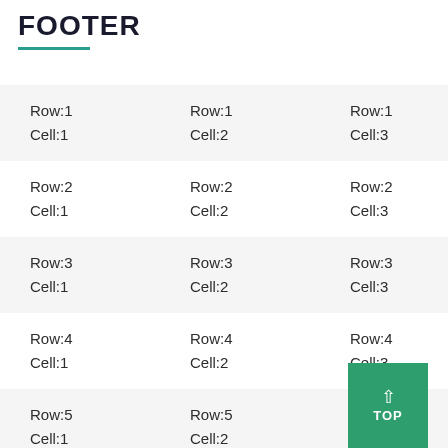FOOTER
| Row:1
Cell:1 | Row:1
Cell:2 | Row:1
Cell:3 | Row:1
Cell:4 | R...
C... |
| Row:2
Cell:1 | Row:2
Cell:2 | Row:2
Cell:3 | Row:2
Cell:4 | R...
C... |
| Row:3
Cell:1 | Row:3
Cell:2 | Row:3
Cell:3 | Row:3
Cell:4 | R...
C... |
| Row:4
Cell:1 | Row:4
Cell:2 | Row:4
Cell:3 | Row:4
Cell:4 | R...
C... |
| Row:5
Cell:1 | Row:5
Cell:2 | Row:5
Cell:3 | Row:5
Cell:4 | R...
C... |